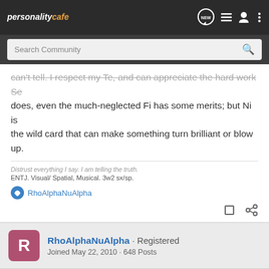personalitycafe
can't tell. I respect my Te, and can appreciate the hard work Se does, even the much-neglected Fi has some merits; but Ni is the wild card that can make something turn brilliant or blow up.
Distrust everything I say. I am telling the truth.
ENTJ. Visual/ Spatial, Musical. 3w2 sx/sp.
RhoAlphaNuAlpha
RhoAlphaNuAlpha · Registered
Joined May 22, 2010 · 648 Posts
#10 · Aug 17, 2010